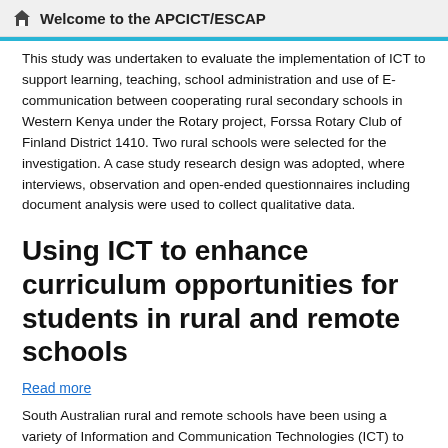Welcome to the APCICT/ESCAP
This study was undertaken to evaluate the implementation of ICT to support learning, teaching, school administration and use of E-communication between cooperating rural secondary schools in Western Kenya under the Rotary project, Forssa Rotary Club of Finland District 1410. Two rural schools were selected for the investigation. A case study research design was adopted, where interviews, observation and open-ended questionnaires including document analysis were used to collect qualitative data.
Using ICT to enhance curriculum opportunities for students in rural and remote schools
Read more
South Australian rural and remote schools have been using a variety of Information and Communication Technologies (ICT) to enhance curriculum opportunities for students whose teachers are at a different campus or different school, or who are out of the school for extended periods of time undertaking courses, such as, Vocational Education and